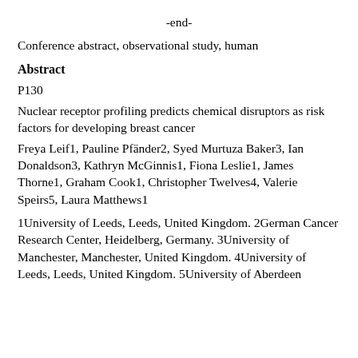-end-
Conference abstract, observational study, human
Abstract
P130
Nuclear receptor profiling predicts chemical disruptors as risk factors for developing breast cancer
Freya Leif1, Pauline Pfänder2, Syed Murtuza Baker3, Ian Donaldson3, Kathryn McGinnis1, Fiona Leslie1, James Thorne1, Graham Cook1, Christopher Twelves4, Valerie Speirs5, Laura Matthews1
1University of Leeds, Leeds, United Kingdom. 2German Cancer Research Center, Heidelberg, Germany. 3University of Manchester, Manchester, United Kingdom. 4University of Leeds, Leeds, United Kingdom. 5University of Aberdeen